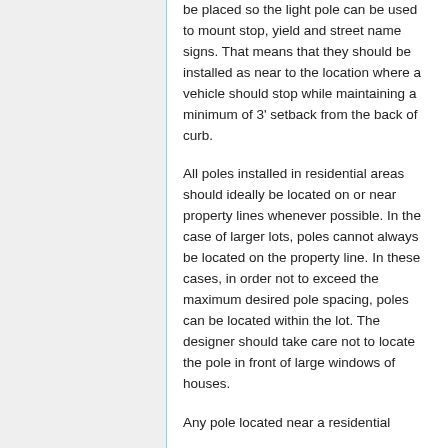be placed so the light pole can be used to mount stop, yield and street name signs. That means that they should be installed as near to the location where a vehicle should stop while maintaining a minimum of 3' setback from the back of curb.
All poles installed in residential areas should ideally be located on or near property lines whenever possible. In the case of larger lots, poles cannot always be located on the property line. In these cases, in order not to exceed the maximum desired pole spacing, poles can be located within the lot. The designer should take care not to locate the pole in front of large windows of houses.
Any pole located near a residential